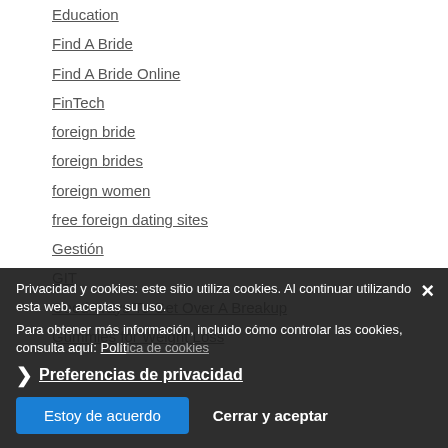Education
Find A Bride
Find A Bride Online
FinTech
foreign bride
foreign brides
foreign women
free foreign dating sites
Gestión
GIT
Good Ways To Get Over A Breakup
Gummies for Weight Loss
Privacidad y cookies: este sitio utiliza cookies. Al continuar utilizando esta web, aceptas su uso.
Para obtener más información, incluido cómo controlar las cookies, consulta aquí: Política de cookies
❯ Preferencias de privacidad
Estoy de acuerdo
Cerrar y aceptar